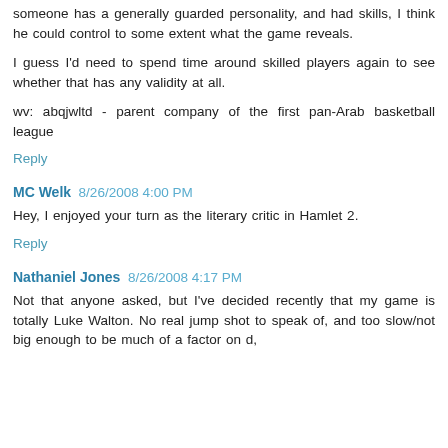someone has a generally guarded personality, and had skills, I think he could control to some extent what the game reveals.
I guess I'd need to spend time around skilled players again to see whether that has any validity at all.
wv: abqjwltd - parent company of the first pan-Arab basketball league
Reply
MC Welk  8/26/2008 4:00 PM
Hey, I enjoyed your turn as the literary critic in Hamlet 2.
Reply
Nathaniel Jones  8/26/2008 4:17 PM
Not that anyone asked, but I've decided recently that my game is totally Luke Walton. No real jump shot to speak of, and too slow/not big enough to be much of a factor on d,